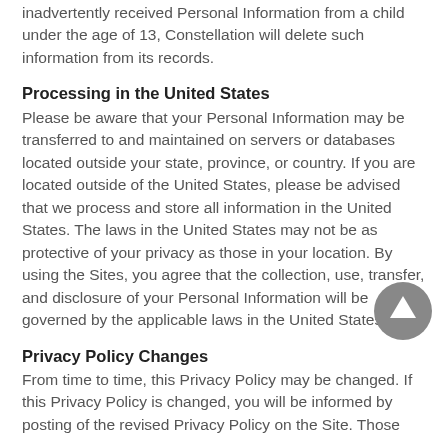inadvertently received Personal Information from a child under the age of 13, Constellation will delete such information from its records.
Processing in the United States
Please be aware that your Personal Information may be transferred to and maintained on servers or databases located outside your state, province, or country. If you are located outside of the United States, please be advised that we process and store all information in the United States. The laws in the United States may not be as protective of your privacy as those in your location. By using the Sites, you agree that the collection, use, transfer, and disclosure of your Personal Information will be governed by the applicable laws in the United States.
[Figure (other): Circular scroll-to-top button with upward arrow, grey background]
Privacy Policy Changes
From time to time, this Privacy Policy may be changed. If this Privacy Policy is changed, you will be informed by posting of the revised Privacy Policy on the Site. Those